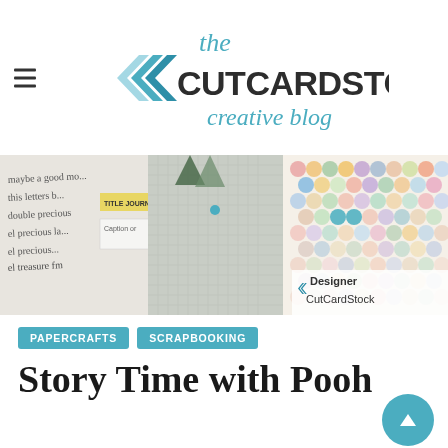[Figure (logo): The CutCardStock Creative Blog logo with double chevron arrows in blue and bold dark text]
[Figure (photo): Scrapbooking craft image showing handwritten journaling pages, patterned paper with hexagon dots in various colors, pennant banners, and a Designer CutCardStock watermark in the bottom right]
PAPERCRAFTS
SCRAPBOOKING
Story Time with Pooh
Story Time with Pooh! What could be better than reading to Winnie the